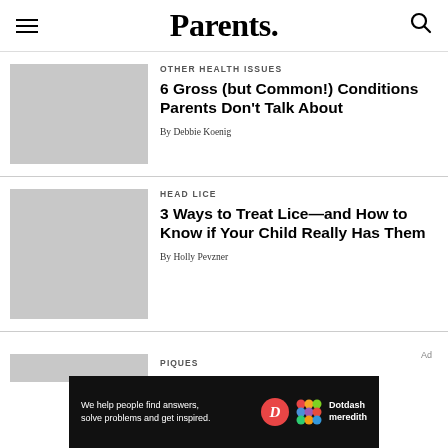Parents.
OTHER HEALTH ISSUES
6 Gross (but Common!) Conditions Parents Don't Talk About
By Debbie Koenig
HEAD LICE
3 Ways to Treat Lice—and How to Know if Your Child Really Has Them
By Holly Pevzner
Ad
We help people find answers, solve problems and get inspired.